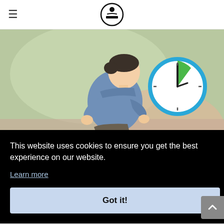WikiHow navigation logo with hamburger menu
[Figure (illustration): Illustration of a person jogging/running outdoors, wearing a blue hoodie and brown shorts, with a timer/clock icon in the upper right showing approximately 5 minutes elapsed (green wedge). Background is blurred green and pinkish tones.]
This website uses cookies to ensure you get the best experience on our website.
Learn more
Got it!
start stretching